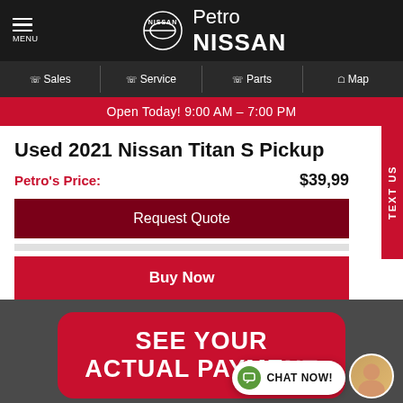MENU | Petro NISSAN
Sales | Service | Parts | Map
Open Today! 9:00 AM – 7:00 PM
Used 2021 Nissan Titan S Pickup
Petro's Price: $39,99
Request Quote
Buy Now
SEE YOUR ACTUAL PAYMENT
CHAT NOW!